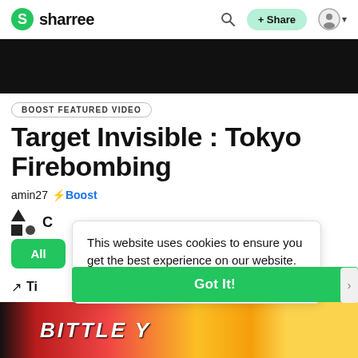sharree
[Figure (screenshot): Black video player area]
BOOST FEATURED VIDEO
Target Invisible : Tokyo Firebombing
amin27 ⚡Boost
C
All
This website uses cookies to ensure you get the best experience on our website.
Learn More
Ti
Got It!
[Figure (screenshot): Bottom thumbnail image with red and yellow background and partial text]